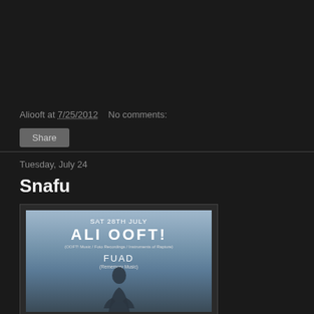Aliooft at 7/25/2012   No comments:
Share
Tuesday, July 24
Snafu
[Figure (photo): Event poster for SAT 28TH JULY ALI OOFT! (OOFT! Music / Foto Recordings / Instruments of Rapture) FUAD (Rememory Music), featuring a silhouette of a person against a blue/grey sky background.]